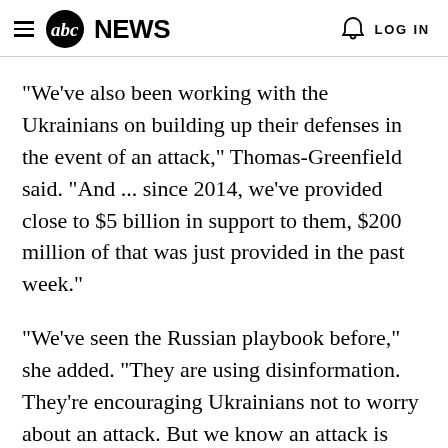abc NEWS  LOG IN
"We've also been working with the Ukrainians on building up their defenses in the event of an attack," Thomas-Greenfield said. "And ... since 2014, we've provided close to $5 billion in support to them, $200 million of that was just provided in the past week."
"We've seen the Russian playbook before," she added. "They are using disinformation. They're encouraging Ukrainians not to worry about an attack. But we know an attack is possible."